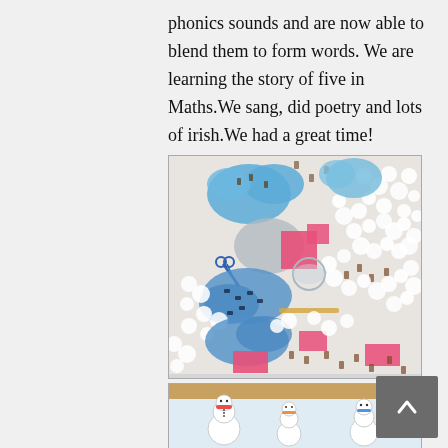phonics sounds and are now able to blend them to form words. We are learning the story of five in Maths.We sang, did poetry and lots of irish.We had a great time!
[Figure (photo): Overhead view of a craft/sensory table with white cotton balls scattered across a white background. Blue felt cloud/ocean shapes with small animal cutouts, pink square paper pieces, scissors, a pencil, and small toy animals (reindeer, bears) are arranged on the surface.]
[Figure (photo): Partial view of snowman figures at the bottom of the page.]